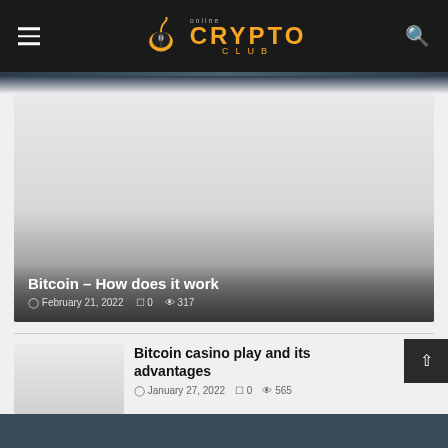Online Crypto Club
[Figure (screenshot): Featured article image placeholder — gray gradient background for article 'Bitcoin – How does it work']
Bitcoin – How does it work
February 21, 2022  0  317
[Figure (photo): Thumbnail image for 'Bitcoin casino play and its advantages']
Bitcoin casino play and its advantages
January 27, 2022  0  565